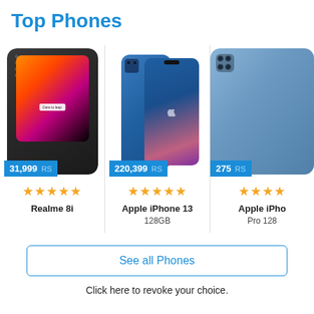Top Phones
[Figure (photo): Realme 8i smartphone with price badge showing 31,999 RS and 5-star rating]
Realme 8i
[Figure (photo): Apple iPhone 13 in blue with price badge showing 220,399 RS and 5-star rating]
Apple iPhone 13 128GB
[Figure (photo): Apple iPhone Pro (partially visible) with price badge showing 275... RS and 4-star rating]
Apple iPho Pro 128
See all Phones
Click here to revoke your choice.